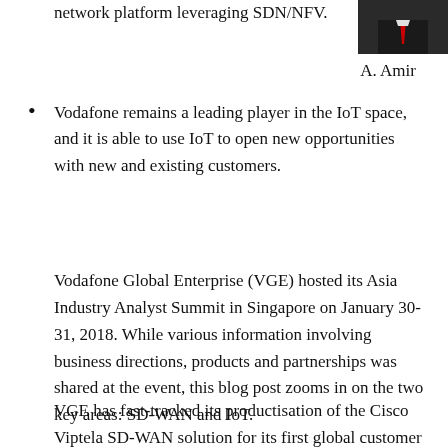[Figure (photo): Partial photo of a person in a dark suit with a red tie, cropped at top right of page]
network platform leveraging SDN/NFV.
A. Amir
Vodafone remains a leading player in the IoT space, and it is able to use IoT to open new opportunities with new and existing customers.
Vodafone Global Enterprise (VGE) hosted its Asia Industry Analyst Summit in Singapore on January 30-31, 2018. While various information involving business directions, products and partnerships was shared at the event, this blog post zooms in on the two key areas: SD-WAN and IoT.
VGE has fast-tracked its productisation of the Cisco Viptela SD-WAN solution for its first global customer in APAC. Meanwhile, the company is also keeping customers informed of its roadmap to introduce a